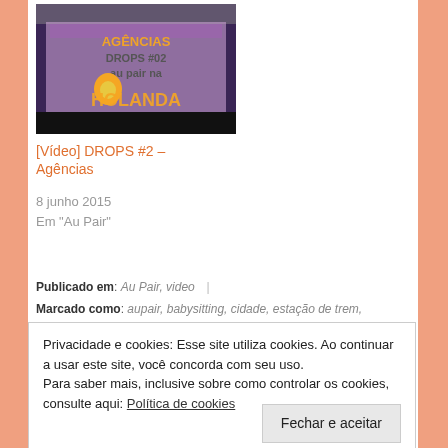[Figure (photo): Thumbnail image of a colorful storefront with orange text overlays reading 'AGÊNCIAS DROPS #02 au pair na HOLANDA' with an egg/avocado icon]
[Vídeo] DROPS #2 – Agências
8 junho 2015
Em "Au Pair"
Publicado em: Au Pair, video |
Marcado como: aupair, babysitting, cidade, estação de trem,
Privacidade e cookies: Esse site utiliza cookies. Ao continuar a usar este site, você concorda com seu uso.
Para saber mais, inclusive sobre como controlar os cookies, consulte aqui: Política de cookies
Fechar e aceitar
Anuncios